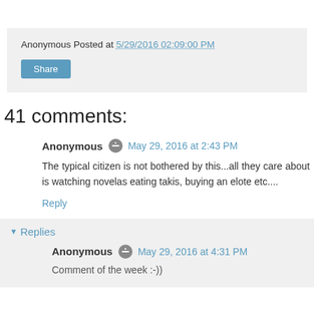Anonymous Posted at 5/29/2016 02:09:00 PM
Share
41 comments:
Anonymous May 29, 2016 at 2:43 PM
The typical citizen is not bothered by this...all they care about is watching novelas eating takis, buying an elote etc....
Reply
▼ Replies
Anonymous May 29, 2016 at 4:31 PM
Comment of the week :-))